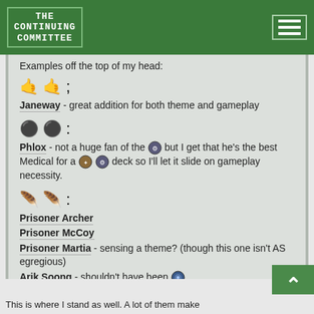THE CONTINUING COMMITTEE
Examples off the top of my head:
🤙🤙 ; Janeway - great addition for both theme and gameplay
⚫⚫ : Phlox - not a huge fan of the [icon] but I get that he's the best Medical for a [icon][icon] deck so I'll let it slide on gameplay necessity.
🪶🪶 : Prisoner Archer
Prisoner McCoy
Prisoner Martia - sensing a theme? (though this one isn't AS egregious)
Arik Soong - shouldn't have been [icon]
This is where I stand as well. A lot of them make